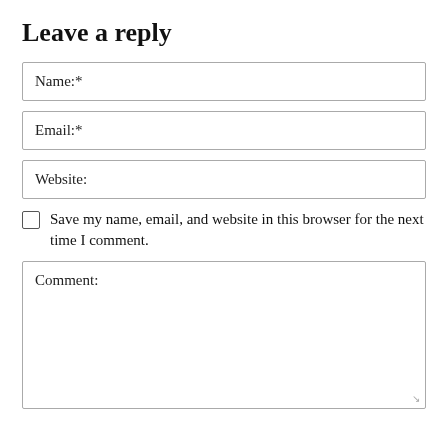Leave a reply
Name:*
Email:*
Website:
Save my name, email, and website in this browser for the next time I comment.
Comment: